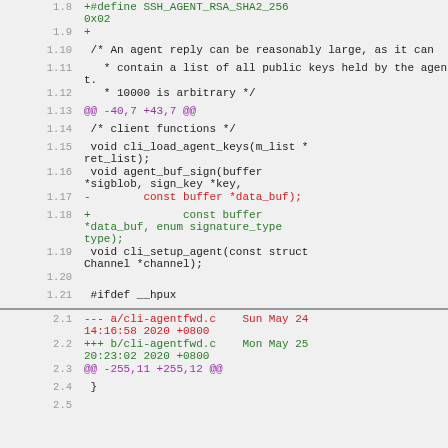1.8  +#define SSH_AGENT_RSA_SHA2_256 0x02
1.9  +
1.10  /* An agent reply can be reasonably large, as it can
1.11  * contain a list of all public keys held by the agent.
1.12  * 10000 is arbitrary */
1.13  @@ -40,7 +43,7 @@
1.14  /* client functions */
1.15  void cli_load_agent_keys(m_list *ret_list);
1.16  void agent_buf_sign(buffer *sigblob, sign_key *key,
1.17  -       const buffer *data_buf);
1.18  +              const buffer *data_buf, enum signature_type type);
1.19  void cli_setup_agent(const struct Channel *channel);
1.20
1.21  #ifdef __hpux
2.1  --- a/cli-agentfwd.c    Sun May 24 14:16:58 2020 +0800
2.2  +++ b/cli-agentfwd.c    Mon May 25 20:23:02 2020 +0800
2.3  @@ -255,11 +255,12 @@
2.4  }
2.5